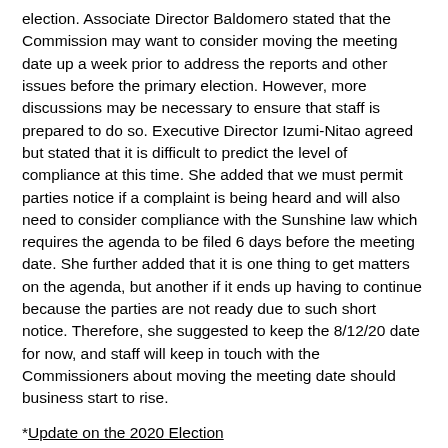election.  Associate Director Baldomero stated that the Commission may want to consider moving the meeting date up a week prior to address the reports and other issues before the primary election.  However, more discussions may be necessary to ensure that staff is prepared to do so.  Executive Director Izumi-Nitao agreed but stated that it is difficult to predict the level of compliance at this time.  She added that we must permit parties notice if a complaint is being heard and will also need to consider compliance with the Sunshine law which requires the agenda to be filed 6 days before the meeting date.  She further added that it is one thing to get matters on the agenda, but another if it ends up having to continue because the parties are not ready due to such short notice.  Therefore, she suggested to keep the 8/12/20 date for now, and staff will keep in touch with the Commissioners about moving the meeting date should business start to rise.
*Update on the 2020 Election
Associate Director Baldomero reported the following:
308 candidates are running (300 candidates will be on the